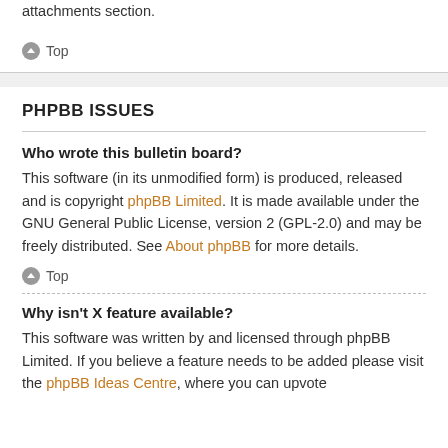attachments section.
Top
PHPBB ISSUES
Who wrote this bulletin board?
This software (in its unmodified form) is produced, released and is copyright phpBB Limited. It is made available under the GNU General Public License, version 2 (GPL-2.0) and may be freely distributed. See About phpBB for more details.
Top
Why isn't X feature available?
This software was written by and licensed through phpBB Limited. If you believe a feature needs to be added please visit the phpBB Ideas Centre, where you can upvote